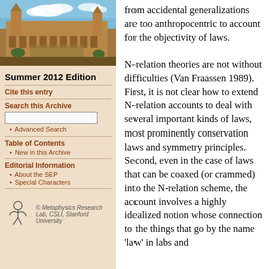[Figure (photo): Photograph of a university building (likely Stanford or similar) with Gothic architecture under a blue sky with clouds]
Summer 2012 Edition
Cite this entry
Search this Archive
Advanced Search
Table of Contents
New in this Archive
Editorial Information
About the SEP
Special Characters
[Figure (logo): Metaphysics Research Lab, CSLI, Stanford University logo with stylized figure]
from accidental generalizations are too anthropocentric to account for the objectivity of laws.
N-relation theories are not without difficulties (Van Fraassen 1989). First, it is not clear how to extend N-relation accounts to deal with several important kinds of laws, most prominently conservation laws and symmetry principles. Second, even in the case of laws that can be coaxed (or crammed) into the N-relation scheme, the account involves a highly idealized notion whose connection to the things that go by the name ‘law’ in labs and